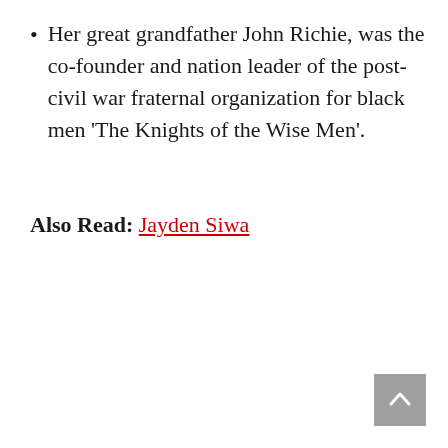Her great grandfather John Richie, was the co-founder and nation leader of the post-civil war fraternal organization for black men ‘The Knights of the Wise Men’.
Also Read: Jayden Siwa